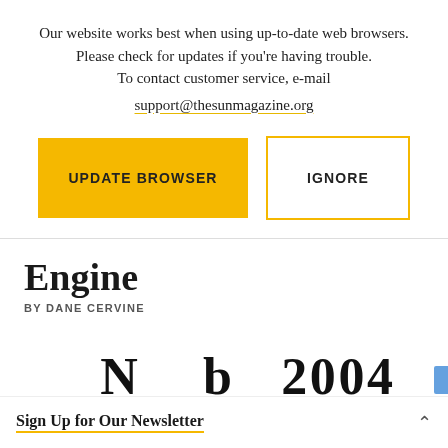Our website works best when using up-to-date web browsers. Please check for updates if you're having trouble. To contact customer service, e-mail support@thesunmagazine.org
UPDATE BROWSER
IGNORE
Engine
BY DANE CERVINE
Sign Up for Our Newsletter